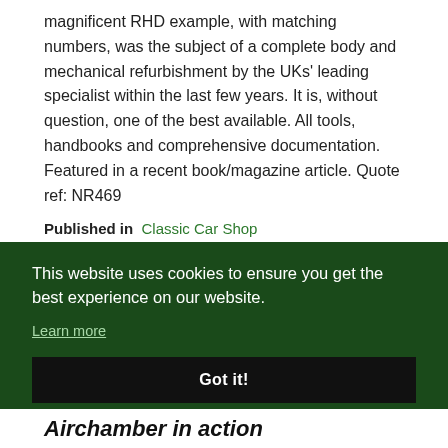magnificent RHD example, with matching numbers, was the subject of a complete body and mechanical refurbishment by the UKs' leading specialist within the last few years. It is, without question, one of the best available. All tools, handbooks and comprehensive documentation. Featured in a recent book/magazine article. Quote ref: NR469
Published in  Classic Car Shop
This website uses cookies to ensure you get the best experience on our website. Learn more  Got it!
Airchamber in action